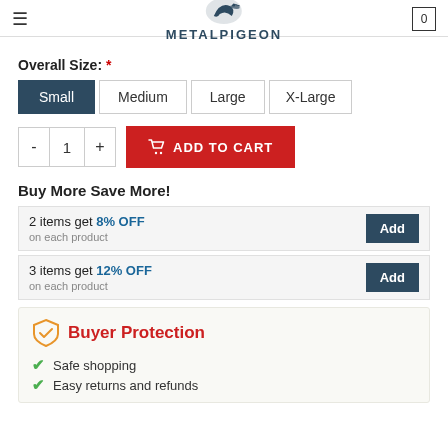METALPIGEON
Overall Size: *
Small | Medium | Large | X-Large
- 1 + ADD TO CART
Buy More Save More!
2 items get 8% OFF on each product
3 items get 12% OFF on each product
Buyer Protection
Safe shopping
Easy returns and refunds